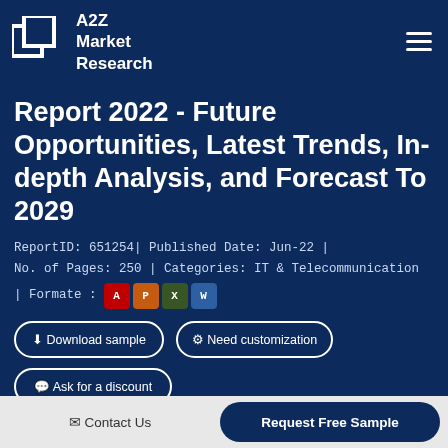A2Z Market Research
Report 2022 - Future Opportunities, Latest Trends, In-depth Analysis, and Forecast To 2029
ReportID: 651254| Published Date: Jun-22 | No. of Pages: 250 | Categories: IT & Telecommunication | Formate :
[Figure (logo): Microsoft Office format icons: Access (red), PowerPoint (orange), Excel (green), Word (blue)]
Download sample | Need customization | Ask for a discount
Contact Us | Request Free Sample